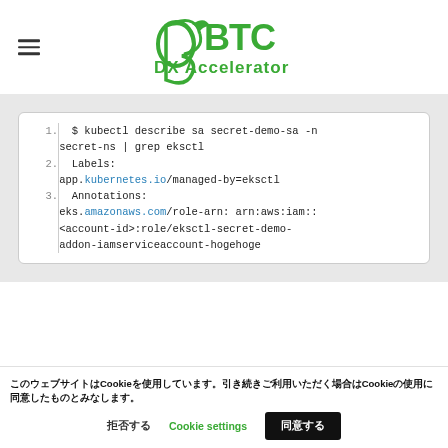BTC DX Accelerator
[Figure (screenshot): Code block showing kubectl describe command output with line numbers. Line 1: $ kubectl describe sa secret-demo-sa -n secret-ns | grep eksctl. Line 2: Labels: app.kubernetes.io/managed-by=eksctl. Line 3: Annotations: eks.amazonaws.com/role-arn: arn:aws:iam::<account-id>:role/eksctl-secret-demo-addon-iamserviceaccount-hogehoge]
このウェブサイトはCookieを使用しています。引き続きご利用いただく場合はCookieの使用に同意したものとみなします。
拒否する | Cookie settings | 同意する